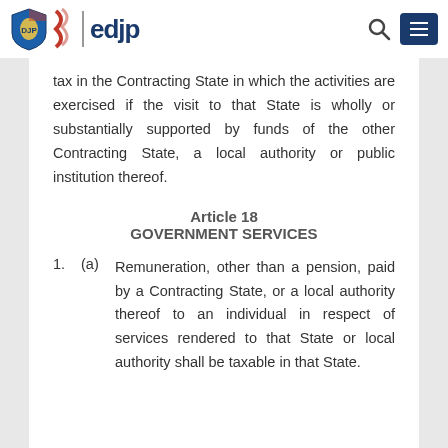edjp
tax in the Contracting State in which the activities are exercised if the visit to that State is wholly or substantially supported by funds of the other Contracting State, a local authority or public institution thereof.
Article 18
GOVERNMENT SERVICES
1. (a) Remuneration, other than a pension, paid by a Contracting State, or a local authority thereof to an individual in respect of services rendered to that State or local authority shall be taxable in that State.